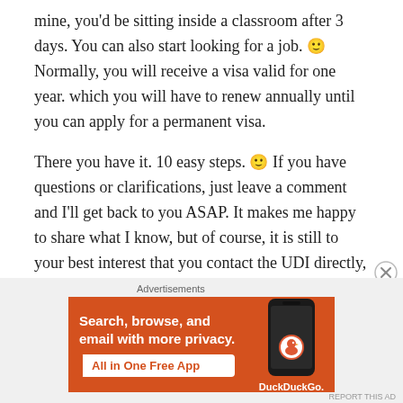mine, you'd be sitting inside a classroom after 3 days. You can also start looking for a job. 🙂 Normally, you will receive a visa valid for one year. which you will have to renew annually until you can apply for a permanent visa.
There you have it. 10 easy steps. 🙂 If you have questions or clarifications, just leave a comment and I'll get back to you ASAP. It makes me happy to share what I know, but of course, it is still to your best interest that you contact the UDI directly, as what I did all throughout the process.
[Figure (other): DuckDuckGo advertisement banner: 'Search, browse, and email with more privacy. All in One Free App' with a phone graphic and DuckDuckGo logo.]